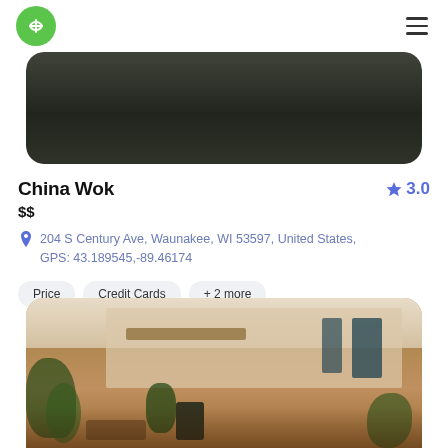App navigation header with logo and hamburger menu
[Figure (photo): Dark top image of a restaurant/road scene with rounded corners]
China Wok
★ 3.0
$$
204 S Century Ave, Waunakee, WI 53597, United States, GPS: 43.189545,-89.46174
Price
Credit Cards
+ 2 more
[Figure (photo): Outdoor cafe/restaurant scene with plants, tables, building facade with awnings and large windows]